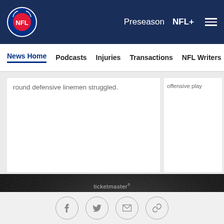NFL | Preseason | NFL+
News Home | Podcasts | Injuries | Transactions | NFL Writers | Se
round defensive linemen struggled.
offensive play
[Figure (other): Ticketmaster advertisement on dark textured background with text: ticketmaster | Single game tickets available now!]
Social sharing icons: Facebook, Twitter, Email, Link